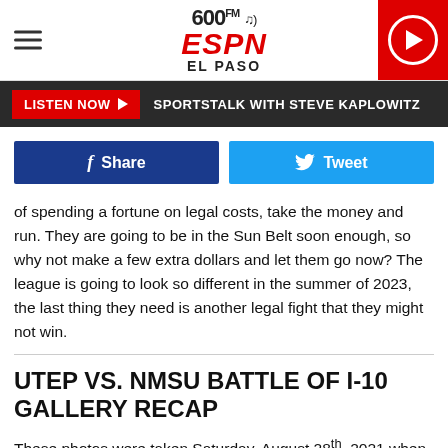600 FM ESPN EL PASO
LISTEN NOW  SPORTSTALK WITH STEVE KAPLOWITZ
Share  Tweet
of spending a fortune on legal costs, take the money and run. They are going to be in the Sun Belt soon enough, so why not make a few extra dollars and let them go now? The league is going to look so different in the summer of 2023, the last thing they need is another legal fight that they might not win.
UTEP VS. NMSU BATTLE OF I-10 GALLERY RECAP
These photos were taken Saturday, August 28th, 2021 when UTEP defeated NMSU 30-3 in the annual Battle of I-10 at